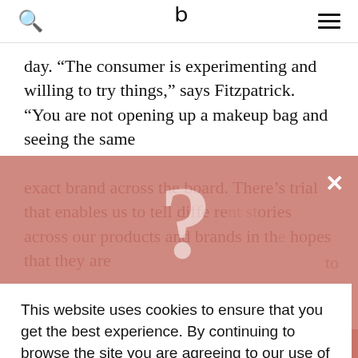b (logo)
day. “The consumer is experimenting and willing to try things,” says Fitzpatrick. “You are not opening up a makeup bag and seeing the same exact brand across the board. There’s trial that enables us to tell different stories across our products and brands in the hopes that they are
[Figure (screenshot): Cookie consent overlay in pink/salmon color with a large white question mark watermark and a close X button]
This website uses cookies to ensure that you get the best experience. By continuing to browse the site you are agreeing to our use of cookies.  Learn More
OK
strike partnerships with brands. “Without being